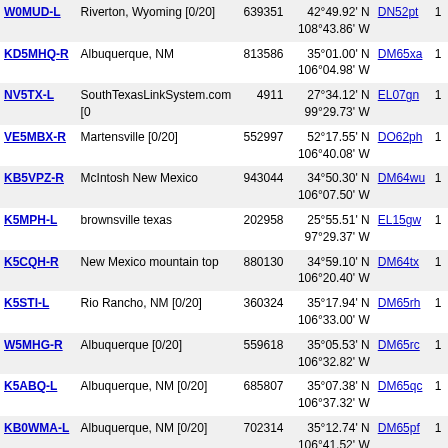| Callsign | Location | Node | Coordinates | Grid |  |
| --- | --- | --- | --- | --- | --- |
| W0MUD-L | Riverton, Wyoming [0/20] | 639351 | 42°49.92' N
108°43.86' W | DN52pt | 1 |
| KD5MHQ-R | Albuquerque, NM | 813586 | 35°01.00' N
106°04.98' W | DM65xa | 1 |
| NV5TX-L | SouthTexasLinkSystem.com [0 | 4911 | 27°34.12' N
99°29.73' W | EL07gn | 1 |
| VE5MBX-R | Martensville [0/20] | 552997 | 52°17.55' N
106°40.08' W | DO62ph | 1 |
| KB5VPZ-R | McIntosh New Mexico | 943044 | 34°50.30' N
106°07.50' W | DM64wu | 1 |
| K5MPH-L | brownsville texas | 202958 | 25°55.51' N
97°29.37' W | EL15gw | 1 |
| K5CQH-R | New Mexico mountain top | 880130 | 34°59.10' N
106°20.40' W | DM64tx | 1 |
| K5STI-L | Rio Rancho, NM [0/20] | 360324 | 35°17.94' N
106°33.00' W | DM65rh | 1 |
| W5MHG-R | Albuquerque [0/20] | 559618 | 35°05.53' N
106°32.82' W | DM65rc | 1 |
| K5ABQ-L | Albuquerque, NM [0/20] | 685807 | 35°07.38' N
106°37.32' W | DM65qc | 1 |
| KB0WMA-L | Albuquerque, NM [0/20] | 702314 | 35°12.74' N
106°41.52' W | DM65pf | 1 |
| K5RIC-L | Buck / Ski Apache NM [0/4] | 125232 | 33°24.27' N
105°46.92' W | DM73cj | 1 |
| W5QCP-L | Alamagordo, NM [0/20] | 686578 | 32°53.70' N
105°55.32' W | DM72av | 1 |